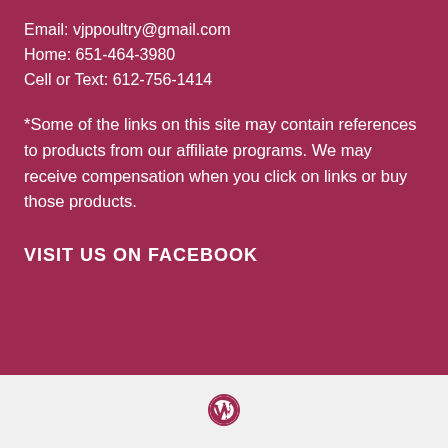Email: vjppoultry@gmail.com
Home: 651-464-3980
Cell or Text: 612-756-1414
*Some of the links on this site may contain references to products from our affiliate programs. We may receive compensation when you click on links or buy those products.
VISIT US ON FACEBOOK
[Figure (logo): WordPress logo icon in the footer area]